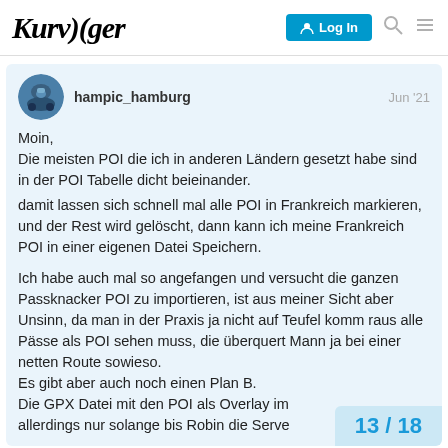Kurviger | Log In
hampic_hamburg Jun '21
Moin,
Die meisten POI die ich in anderen Ländern gesetzt habe sind in der POI Tabelle dicht beieinander.

damit lassen sich schnell mal alle POI in Frankreich markieren, und der Rest wird gelöscht, dann kann ich meine Frankreich POI in einer eigenen Datei Speichern.

Ich habe auch mal so angefangen und versucht die ganzen Passknacker POI zu importieren, ist aus meiner Sicht aber Unsinn, da man in der Praxis ja nicht auf Teufel komm raus alle Pässe als POI sehen muss, die überquert Mann ja bei einer netten Route sowieso.
Es gibt aber auch noch einen Plan B.
Die GPX Datei mit den POI als Overlay im allerdings nur solange bis Robin die Serve
13 / 18